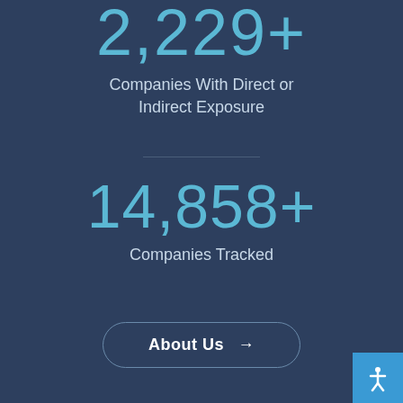2,229+
Companies With Direct or Indirect Exposure
14,858+
Companies Tracked
About Us →